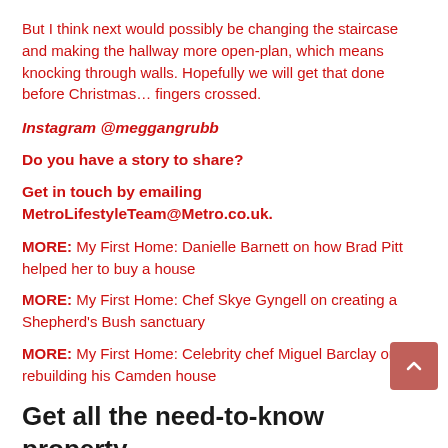But I think next would possibly be changing the staircase and making the hallway more open-plan, which means knocking through walls. Hopefully we will get that done before Christmas… fingers crossed.
Instagram @meggangrubb
Do you have a story to share?
Get in touch by emailing MetroLifestyleTeam@Metro.co.uk.
MORE: My First Home: Danielle Barnett on how Brad Pitt helped her to buy a house
MORE: My First Home: Chef Skye Gyngell on creating a Shepherd's Bush sanctuary
MORE: My First Home: Celebrity chef Miguel Barclay on rebuilding his Camden house
Get all the need-to-know property